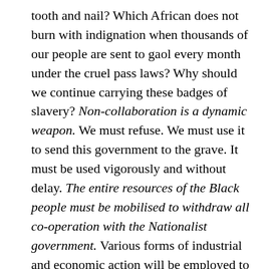tooth and nail? Which African does not burn with indignation when thousands of our people are sent to gaol every month under the cruel pass laws? Why should we continue carrying these badges of slavery? Non-collaboration is a dynamic weapon. We must refuse. We must use it to send this government to the grave. It must be used vigorously and without delay. The entire resources of the Black people must be mobilised to withdraw all co-operation with the Nationalist government. Various forms of industrial and economic action will be employed to undermine the already tottering economy of the country. We will call upon the international bodies to expel South Africa and